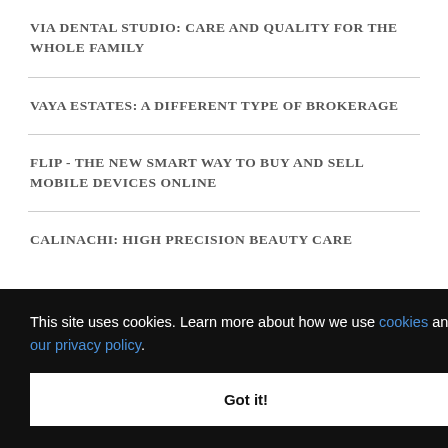VIA DENTAL STUDIO: CARE AND QUALITY FOR THE WHOLE FAMILY
VAYA ESTATES: A DIFFERENT TYPE OF BROKERAGE
FLIP - THE NEW SMART WAY TO BUY AND SELL MOBILE DEVICES ONLINE
CALINACHI: HIGH PRECISION BEAUTY CARE
This site uses cookies. Learn more about how we use cookies and our privacy policy. Got it!